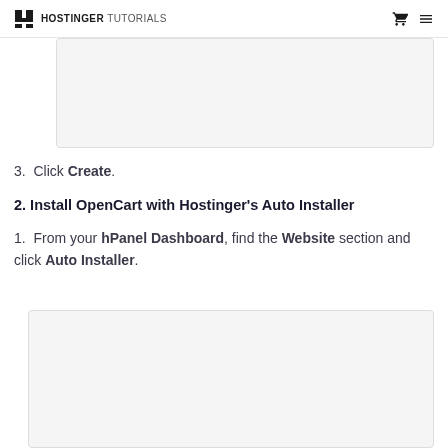HOSTINGER TUTORIALS
[Figure (screenshot): Screenshot placeholder box at top of page]
3. Click Create.
2. Install OpenCart with Hostinger's Auto Installer
1. From your hPanel Dashboard, find the Website section and click Auto Installer.
[Figure (screenshot): Screenshot placeholder box at bottom of page]